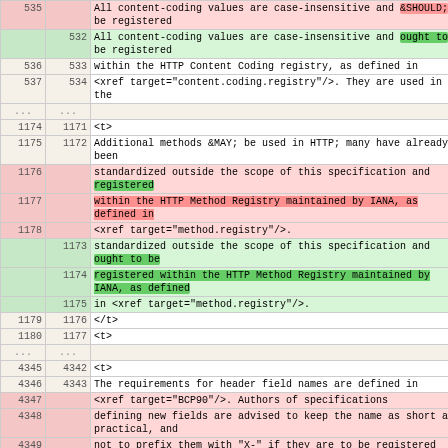| old | new | content |
| --- | --- | --- |
| 535 |  |     All content-coding values are case-insensitive and &SHOULD; be registered |
|  | 532 |     All content-coding values are case-insensitive and ought to be registered |
| 536 | 533 |     within the HTTP Content Coding registry, as defined in |
| 537 | 534 |     <xref target="content.coding.registry"/>. They are used in the |
| ... | ... |  |
| 1174 | 1171 | <t> |
| 1175 | 1172 |     Additional methods &MAY; be used in HTTP; many have already been |
| 1176 |  |     standardized outside the scope of this specification and registered |
| 1177 |  |     within the HTTP Method Registry maintained by IANA, as defined in |
| 1178 |  |     <xref target="method.registry"/>. |
|  | 1173 |     standardized outside the scope of this specification and ought to be |
|  | 1174 |     registered within the HTTP Method Registry maintained by IANA, as defined |
|  | 1175 |     in <xref target="method.registry"/>. |
| 1179 | 1176 | </t> |
| 1180 | 1177 | <t> |
| ... | ... |  |
| 4345 | 4342 | <t> |
| 4346 | 4343 |     The requirements for header field names are defined in |
| 4347 |  |     <xref target="BCP90"/>.  Authors of specifications |
| 4348 |  |     defining new fields are advised to keep the name as short as practical, and |
| 4349 |  |     not to prefix them with "X-" if they are to be registered (either |